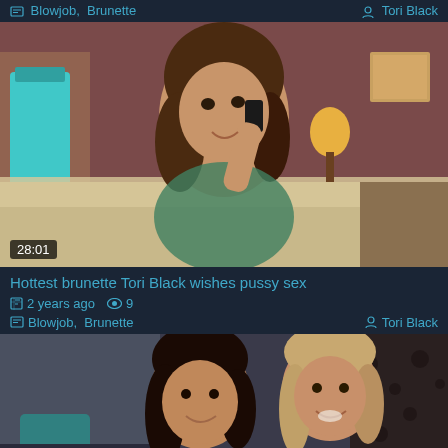Blowjob, Brunette    Tori Black
[Figure (photo): Brunette woman lying on bed talking on phone, bedroom with pink walls and lamp, duration badge 28:01]
Hottest brunette Tori Black wishes pussy sex
2 years ago  9
Blowjob, Brunette    Tori Black
[Figure (photo): Two smiling women, one brunette and one lighter-haired, sitting together]